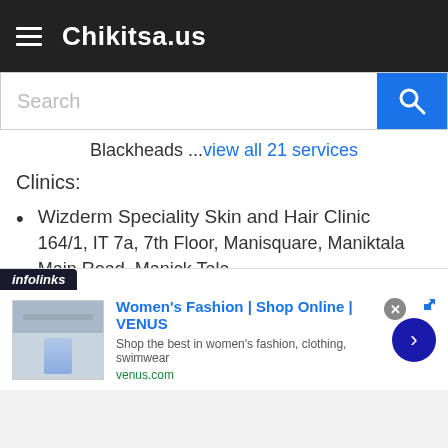Chikitsa.us
Blackheads ...view all 21 services
Clinics:
Wizderm Speciality Skin and Hair Clinic
164/1, IT 7a, 7th Floor, Manisquare, Maniktala Main Road, Manick Tala
Kolkata, West Bengal
Iris Hospital
82/1, Raja Subodh Chandra Mullick Road, Ajanta Park,
[Figure (screenshot): Advertisement banner: Women's Fashion | Shop Online | VENUS — Shop the best in women's fashion, clothing, swimwear. venus.com]